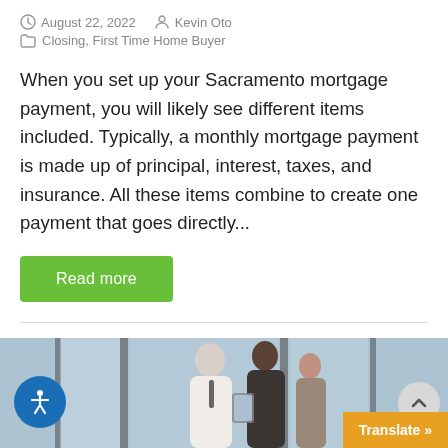August 22, 2022   Kevin Oto
Closing, First Time Home Buyer
When you set up your Sacramento mortgage payment, you will likely see different items included. Typically, a monthly mortgage payment is made up of principal, interest, taxes, and insurance. All these items combine to create one payment that goes directly...
Read more
[Figure (photo): Two men and a woman in a modern interior space, one holding a tablet, appearing to discuss real estate or a property.]